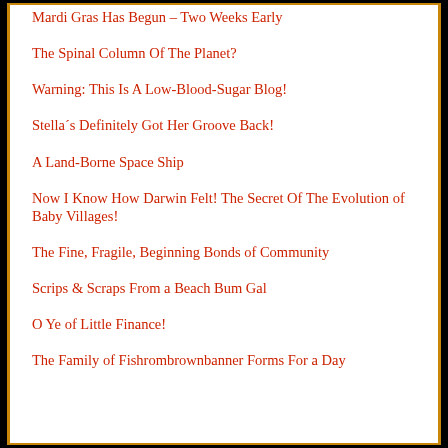Mardi Gras Has Begun – Two Weeks Early
The Spinal Column Of The Planet?
Warning: This Is A Low-Blood-Sugar Blog!
Stella´s Definitely Got Her Groove Back!
A Land-Borne Space Ship
Now I Know How Darwin Felt! The Secret Of The Evolution of Baby Villages!
The Fine, Fragile, Beginning Bonds of Community
Scrips & Scraps From a Beach Bum Gal
O Ye of Little Finance!
The Family of Fishrombrownbanner Forms For a Day